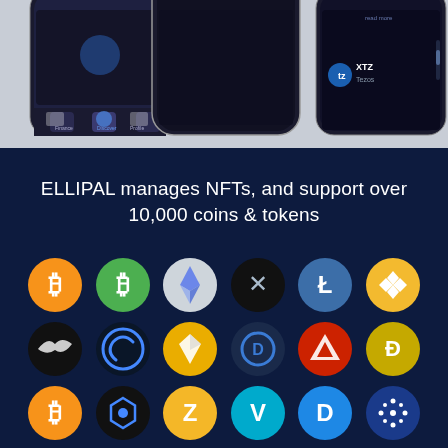[Figure (screenshot): Top portion showing mobile app screenshots on a light gray background with phone UI elements including icons for Finance/Discover/Profile navigation and XTZ Tezos coin display]
ELLIPAL manages NFTs, and support over 10,000 coins & tokens
[Figure (illustration): Grid of cryptocurrency coin logos including Bitcoin (orange), Bitcoin Cash (green), Ethereum (gray), XRP (black/gray X), Litecoin (blue), Binance (yellow), Blackbird, Celsius, Bitcoin SV (yellow), Dash, Tron (red), Dogecoin (gold), Bitcoin (yellow), POA Network, Zcash (yellow), VeChain (teal), Dash (blue), Cardano (blue star), Tron (green), Fantom (red), LEND/Aave, some coin (orange), Binance (yellow), some wallet (blue)]